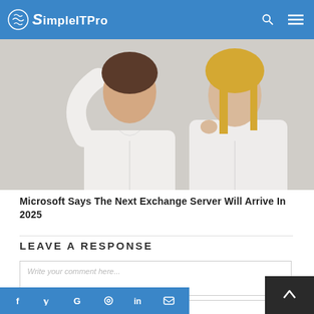SimpleITPro
[Figure (photo): Two women in white shirts, one pointing upward, photographed from chest up against white background]
Microsoft Says The Next Exchange Server Will Arrive In 2025
LEAVE A RESPONSE
Write your comment here...
Name...